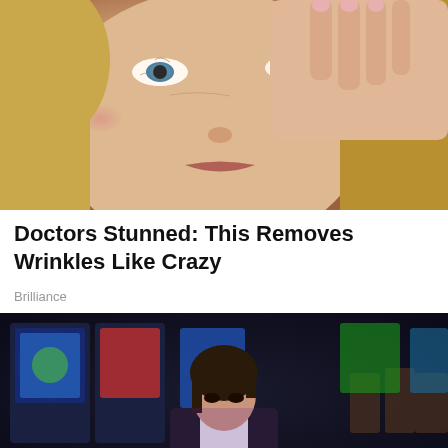[Figure (photo): Close-up photo of a middle-aged woman with blonde hair touching her eye with her hand, looking upward. Her face shows wrinkles and slightly red eyes.]
Doctors Stunned: This Removes Wrinkles Like Crazy
Brilliance
[Figure (photo): Photo of a young woman with dark hair wearing a black blazer over a white shirt, sitting in what appears to be a casino with slot machines and chairs visible in the background.]